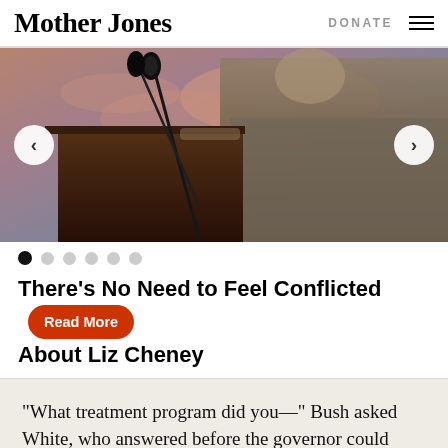Mother Jones    DONATE  ☰
[Figure (photo): Woman speaking at a podium with a microphone, outdoor event, colorful cloudy sky background. Navigation arrows (< and >) on left and right sides of the image.]
There's No Need to Feel Conflicted About Liz Cheney   Read More
“What treatment program did you—” Bush asked White, who answered before the governor could